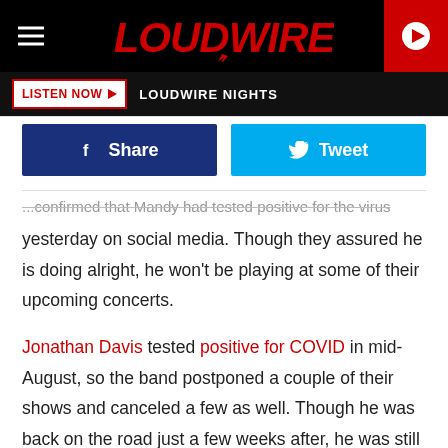LOUDWIRE
LISTEN NOW  LOUDWIRE NIGHTS
[Figure (screenshot): Facebook Share button and Twitter Tweet button]
...confirmed that Mandy had tested positive for the virus yesterday on social media. Though they assured he is doing alright, he won't be playing at some of their upcoming concerts.
Jonathan Davis tested positive for COVID in mid-August, so the band postponed a couple of their shows and canceled a few as well. Though he was back on the road just a few weeks after, he was still experiencing some lingering side-effects of the disease, and was partially seated in a throne